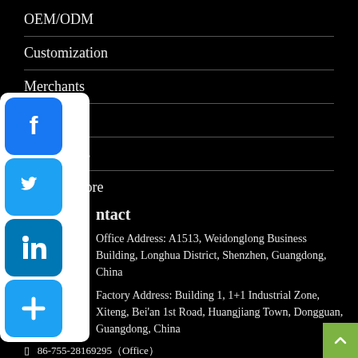OEM/ODM
Customization
Merchants
Catalogue
Certificates
Alibaba Store
Contact
Office Address: A1513, Weidonglong Business Building, Longhua District, Shenzhen, Guangdong, China
Factory Address: Building 1, 1+1 Industrial Zone, Xiteng, Bei'an 1st Road, Huangjiang Town, Dongguan, Guangdong, China
86-755-28169295（Office）
[Figure (infographic): Social media share buttons: Facebook (blue), Twitter (blue), LinkedIn (blue), Share/Plus (blue)]